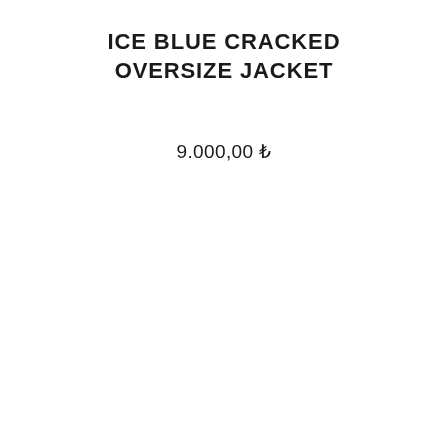ICE BLUE CRACKED OVERSIZE JACKET
9.000,00 ₺